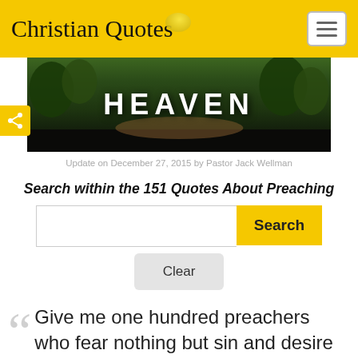Christian Quotes
[Figure (photo): Forest path image with bold white text 'HEAVEN' overlaid]
Update on December 27, 2015 by Pastor Jack Wellman
Search within the 151 Quotes About Preaching
Give me one hundred preachers who fear nothing but sin and desire nothing but God, and I care not whether